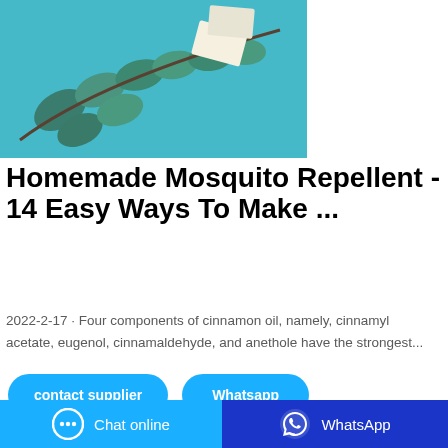[Figure (photo): Photo of eucalyptus leaves and small paper items on a teal/turquoise background, top portion of a search result card]
Homemade Mosquito Repellent - 14 Easy Ways To Make ...
2022-2-17 · Four components of cinnamon oil, namely, cinnamyl acetate, eugenol, cinnamaldehyde, and anethole have the strongest...
contact supplier
Whatsapp
[Figure (photo): Partial photo of a person near a green product on a gray background, second search result card partially visible]
Chat online
WhatsApp